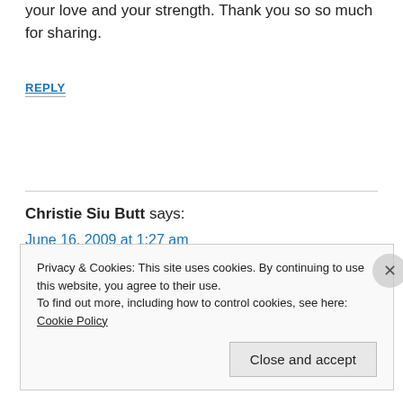your love and your strength. Thank you so so much for sharing.
REPLY
Christie Siu Butt says:
June 16, 2009 at 1:27 am
Privacy & Cookies: This site uses cookies. By continuing to use this website, you agree to their use.
To find out more, including how to control cookies, see here: Cookie Policy